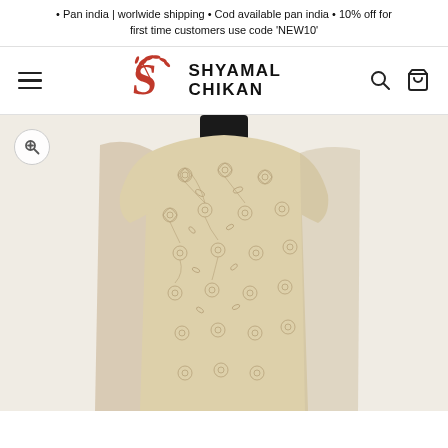• Pan india | worlwide shipping • Cod available pan india • 10% off for first time customers use code 'NEW10'
[Figure (logo): Shyamal Chikan brand logo with a decorative orange 'S' leaf/floral motif and the text SHYAMAL CHIKAN in bold uppercase letters]
[Figure (photo): A mannequin wearing a beige/cream traditional Indian chikan embroidered fabric — a sleeveless kurta with dense floral chikankari embroidery on a light beige background, styled with a plain dupatta]